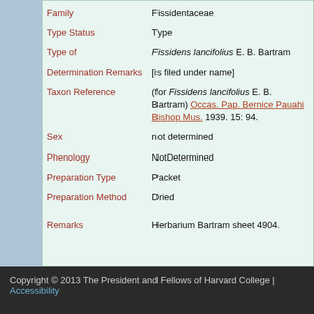| Field | Value |
| --- | --- |
| Family | Fissidentaceae |
| Type Status | Type |
| Type of | Fissidens lancifolius E. B. Bartram |
| Determination Remarks | [is filed under name] |
| Taxon Reference | (for Fissidens lancifolius E. B. Bartram) Occas. Pap. Bernice Pauahi Bishop Mus. 1939. 15: 94. |
| Sex | not determined |
| Phenology | NotDetermined |
| Preparation Type | Packet |
| Preparation Method | Dried |
| Remarks | Herbarium Bartram sheet 4904. |
Copyright © 2013 The President and Fellows of Harvard College | Accessibility